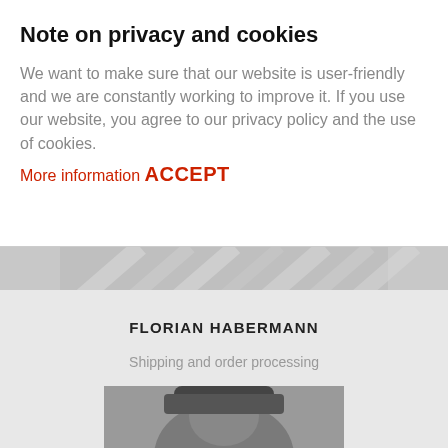Note on privacy and cookies
We want to make sure that our website is user-friendly and we are constantly working to improve it. If you use our website, you agree to our privacy policy and the use of cookies.
More information
ACCEPT
[Figure (photo): Partially visible background image, appears to show hands or fabric in grayscale]
FLORIAN HABERMANN
Shipping and order processing
Germany, Europe
> habermann@kastilo.de
[Figure (photo): Black and white portrait photo of a person, partially visible at the bottom of the page]